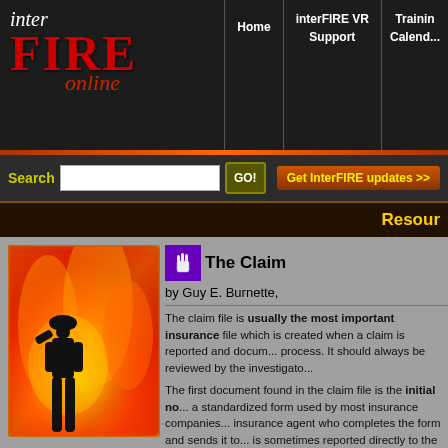[Figure (logo): interFIRE online logo with red FIRE text on dark background]
Home | interFIRE VR Support | Training Calend...
Search [input] GO! Get InterFIRE updates >>
Resour...
[Figure (photo): Firefighter silhouette against flames background]
The Claim...
by Guy E. Burnette,
The claim file is usually the most important insurance file which is created when a claim is reported and documented throughout the claims process. It should always be reviewed by the investigato...
The first document found in the claim file is the initial no... a standardized form used by most insurance companies... insurance agent who completes the form and sends it to... is sometimes reported directly to the insurance company... do not utilize insurance agents to sell the policies (known... and a number of other companies. This is an extremely i... contains the information initially provided by the insured... number of sections for the basic information about the...